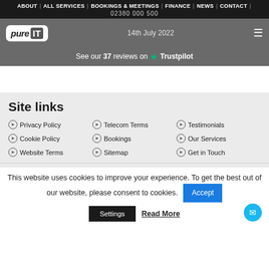ABOUT | ALL SERVICES | BOOKINGS & MEETINGS | FINANCE | NEWS | CONTACT | 02380 000 500
[Figure (logo): Pure IT logo in white rounded rectangle on grey background, date '14th July 2022' centered, hamburger menu icon on right]
See our 37 reviews on ★ Trustpilot
Site links
Privacy Policy
Telecom Terms
Testimonials
Cookie Policy
Bookings
Our Services
Website Terms
Sitemap
Get in Touch
This website uses cookies to improve your experience. To get the best out of our website, please consent to cookies.
Accept
Settings
Read More